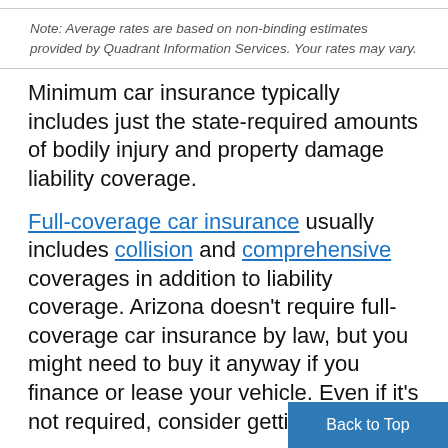Note: Average rates are based on non-binding estimates provided by Quadrant Information Services. Your rates may vary.
Minimum car insurance typically includes just the state-required amounts of bodily injury and property damage liability coverage.
Full-coverage car insurance usually includes collision and comprehensive coverages in addition to liability coverage. Arizona doesn't require full-coverage car insurance by law, but you might need to buy it anyway if you finance or lease your vehicle. Even if it's not required, consider getting a full-coverage policy if your vehicle is new or ex...